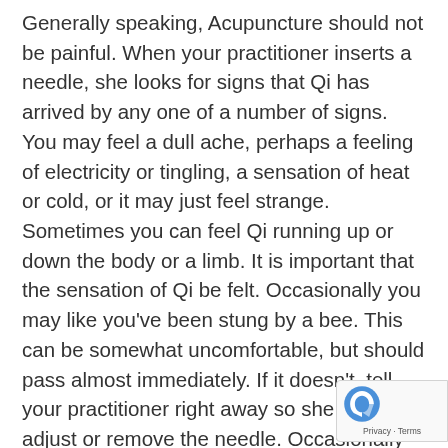Generally speaking, Acupuncture should not be painful. When your practitioner inserts a needle, she looks for signs that Qi has arrived by any one of a number of signs. You may feel a dull ache, perhaps a feeling of electricity or tingling, a sensation of heat or cold, or it may just feel strange. Sometimes you can feel Qi running up or down the body or a limb. It is important that the sensation of Qi be felt. Occasionally you may like you've been stung by a bee. This can be somewhat uncomfortable, but should pass almost immediately. If it doesn't, tell your practitioner right away so she can adjust or remove the needle. Occasionally you may feel a throbbing ache, which may also be somewhat uncomfortable, especially if you are being